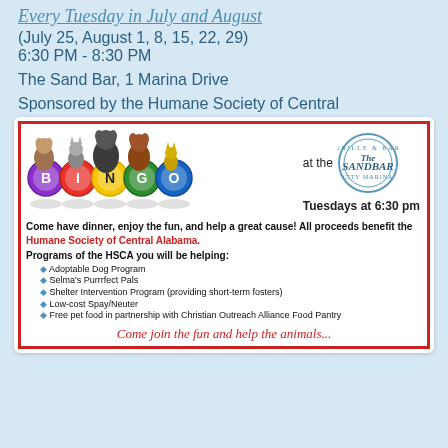Every Tuesday in July and August
(July 25, August 1, 8, 15, 22, 29)
6:30 PM - 8:30 PM
The Sand Bar, 1 Marina Drive
Sponsored by the Humane Society of Central
[Figure (illustration): Bingo night flyer with dogs and cats posed with colorful BINGO balls, 'at the SANDBAR' logo, 'Tuesdays at 6:30 pm', and text: Come have dinner, enjoy the fun, and help a great cause! All proceeds benefit the Humane Society of Central Alabama. Programs of the HSCA you will be helping: Adoptable Dog Program, Selma's Purrrfect Pals, Shelter Intervention Program (providing short-term fosters), Low-cost Spay/Neuter, Free pet food in partnership with Christian Outreach Alliance Food Pantry. Cursive text at bottom in red.]